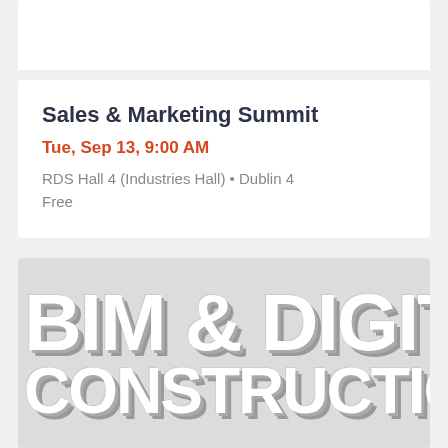[Figure (illustration): Top portion of a white card, partially visible at the top of the page]
Sales & Marketing Summit
Tue, Sep 13, 9:00 AM
RDS Hall 4 (Industries Hall) • Dublin 4
Free
[Figure (illustration): Large styled text graphic reading 'BIM & DIGITAL CONSTRUCTION' in bold white letters with shadow effect on a light gray background]